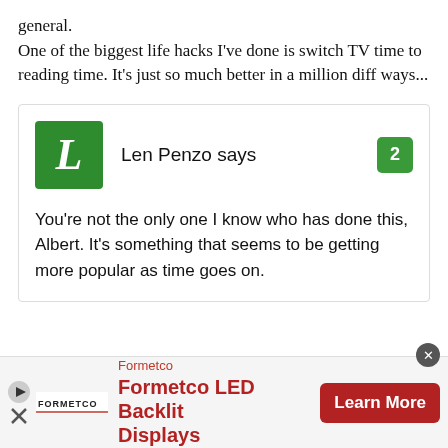general.
One of the biggest life hacks I've done is switch TV time to reading time. It's just so much better in a million diff ways...
Len Penzo says
You're not the only one I know who has done this, Albert. It's something that seems to be getting more popular as time goes on.
[Figure (infographic): Advertisement banner for Formetco LED Backlit Displays with logo and Learn More button]